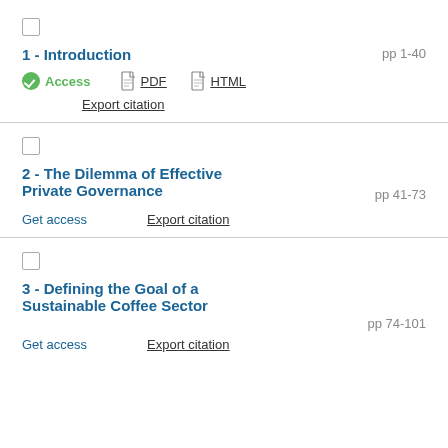1 - Introduction pp 1-40
Access PDF HTML Export citation
2 - The Dilemma of Effective Private Governance pp 41-73
Get access Export citation
3 - Defining the Goal of a Sustainable Coffee Sector pp 74-101
Get access Export citation